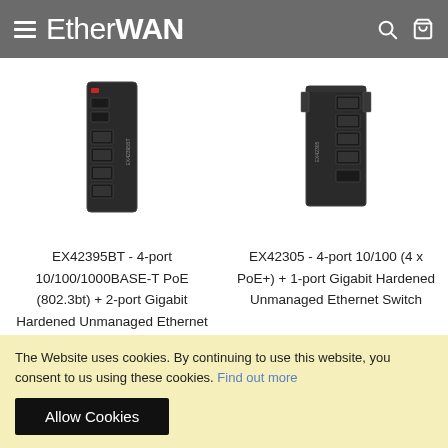EtherWAN
[Figure (photo): EX42395BT network switch product photo — black industrial Ethernet switch with RJ45 ports]
[Figure (photo): EX42305 network switch product photo — black industrial Ethernet switch with RJ45 ports]
EX42395BT - 4-port 10/100/1000BASE-T PoE (802.3bt) + 2-port Gigabit Hardened Unmanaged Ethernet Switch
EX42305 - 4-port 10/100 (4 x PoE+) + 1-port Gigabit Hardened Unmanaged Ethernet Switch
The Website uses cookies. By continuing to use this website, you consent to us using these cookies. Find out more